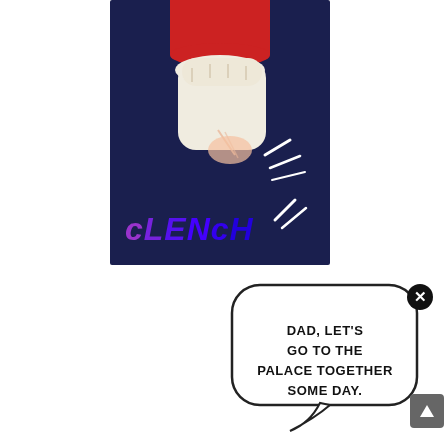[Figure (illustration): Manga/comic panel showing a clenched fist against a dark navy blue background. The hand wears a red sleeve. The word 'CLENCH' is written in purple-to-blue gradient comic lettering with motion lines to the right.]
[Figure (illustration): Rounded speech bubble in the lower right area containing the text 'DAD, LET'S GO TO THE PALACE TOGETHER SOME DAY.' with a tail pointing downward. A black circle with an X (close button) is in the top-right corner of the bubble.]